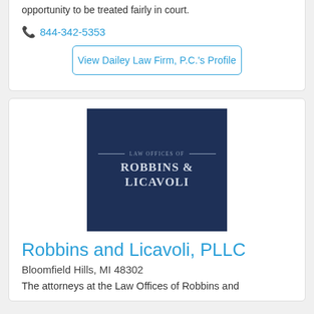opportunity to be treated fairly in court.
📞 844-342-5353
View Dailey Law Firm, P.C.'s Profile
[Figure (logo): Law Offices of Robbins & Licavoli logo on dark navy blue background]
Robbins and Licavoli, PLLC
Bloomfield Hills, MI 48302
The attorneys at the Law Offices of Robbins and